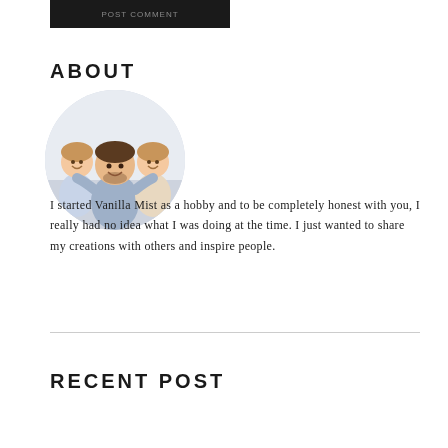[Figure (photo): Partial top image bar showing a dark/black banner, likely a button or header element partially cropped]
ABOUT
[Figure (photo): Circular profile photo of a man with two young girls, smiling, light background]
I started Vanilla Mist as a hobby and to be completely honest with you, I really had no idea what I was doing at the time. I just wanted to share my creations with others and inspire people.
RECENT POST